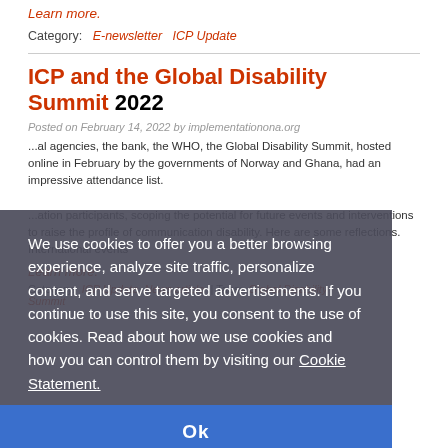Learn more.
Category:   E-newsletter   ICP Update
ICP and the Global Disability Summit 2022
Posted on February 14, 2022 by implementationona.org
...al agencies, the bank, the WHO, the Global Disability Summit, hosted online in February by the governments of Norway and Ghana, had an impressive attendance list. ...ation participants, scoping the potential for future events and interventions to raise the profile of communication disability. Here are some reflections. International events
Learn more.
Category:   ICP Update   News article   | Tags:   Global Disability Summit
We use cookies to offer you a better browsing experience, analyze site traffic, personalize content, and serve targeted advertisements. If you continue to use this site, you consent to the use of cookies. Read about how we use cookies and how you can control them by visiting our Cookie Statement.